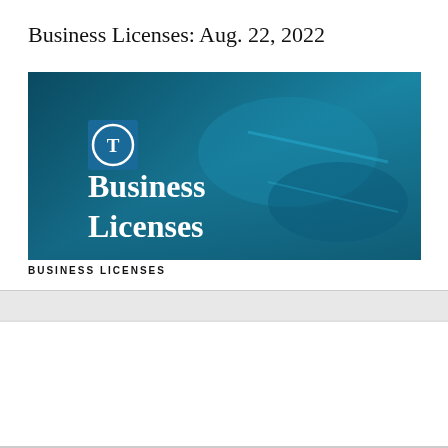Business Licenses: Aug. 22, 2022
[Figure (photo): News article header image with teal/blue tinted background showing hands signing a document, with a white square logo containing the letter T and large white serif text reading 'Business Licenses']
BUSINESS LICENSES
s Licenses: Aug. 15, 2022
NFL Shop
Free shipping on orders over $25
www.nflshop.com